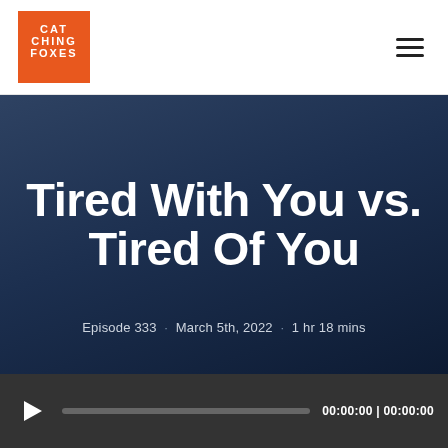[Figure (logo): Catching Foxes podcast logo: orange square with white bold text reading CATCHING FOXES]
Catching Foxes (logo) | hamburger menu icon
Tired With You vs. Tired Of You
Episode 333 · March 5th, 2022 · 1 hr 18 mins
[Figure (screenshot): Audio player bar with play button, progress track showing 00:00:00 | 00:00:00]